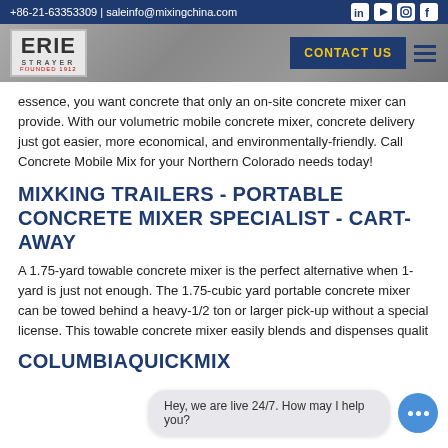+86-21-63353309 | saleinfo@mixingchina.com
[Figure (logo): ERIE STRAYER logo with FOUNDED 1912 text, CONTACT US button, and hamburger menu in a gray textured navigation bar]
essence, you want concrete that only an on-site concrete mixer can provide. With our volumetric mobile concrete mixer, concrete delivery just got easier, more economical, and environmentally-friendly. Call Concrete Mobile Mix for your Northern Colorado needs today!
MIXKING TRAILERS - PORTABLE CONCRETE MIXER SPECIALIST - CART-AWAY
A 1.75-yard towable concrete mixer is the perfect alternative when 1-yard is just not enough. The 1.75-cubic yard portable concrete mixer can be towed behind a heavy-1/2 ton or larger pick-up without a special license. This towable concrete mixer easily blends and dispenses qualit
COLUMBIAQUICKMIX